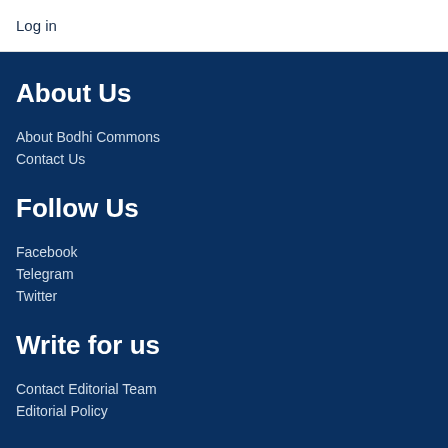Log in
About Us
About Bodhi Commons
Contact Us
Follow Us
Facebook
Telegram
Twitter
Write for us
Contact Editorial Team
Editorial Policy